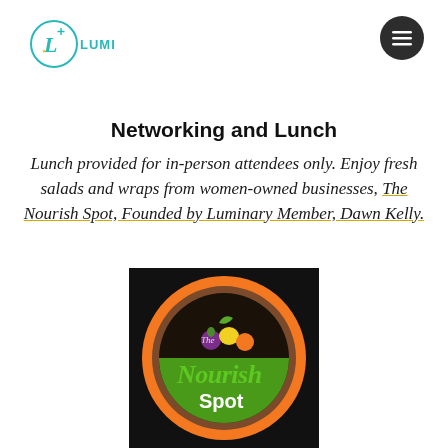[Figure (logo): Luminary logo: circle with letter L and plus icon in teal, with yellow star, text LUMINARY in teal capitals]
[Figure (other): Hamburger menu button: dark circle with three white horizontal lines]
Networking and Lunch
Lunch provided for in-person attendees only. Enjoy fresh salads and wraps from women-owned businesses, The Nourish Spot, Founded by Luminary Member, Dawn Kelly.
[Figure (logo): The Nourish Spot logo: circular logo with orange border, green lower half, featuring the text 'The Nourish Spot' in green cursive lettering with fruit illustrations]